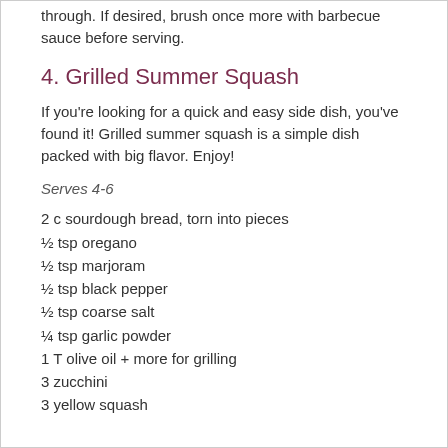through. If desired, brush once more with barbecue sauce before serving.
4. Grilled Summer Squash
If you're looking for a quick and easy side dish, you've found it! Grilled summer squash is a simple dish packed with big flavor. Enjoy!
Serves 4-6
2 c sourdough bread, torn into pieces
½ tsp oregano
½ tsp marjoram
½ tsp black pepper
½ tsp coarse salt
¼ tsp garlic powder
1 T olive oil + more for grilling
3 zucchini
3 yellow squash